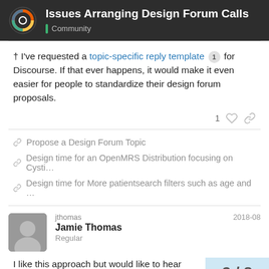Issues Arranging Design Forum Calls | Community
† I've requested a topic-specific reply template 1 for Discourse. If that ever happens, it would make it even easier for people to standardize their design forum proposals.
Propose a Design Forum Topic
Design time for an OpenMRS Distribution focusing on Cysti...
Design time for More patientsearch filters such as age and ...
jthomas
Jamie Thomas
Regular
2018-08
I like this approach but would like to hear this approach requires commitment on the